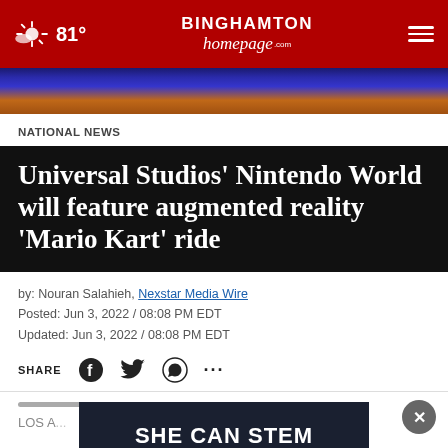81° | BINGHAMTON homepage.com
[Figure (screenshot): Partial image strip showing blue and orange/brown gradient colors, likely a screenshot from a video or image]
NATIONAL NEWS
Universal Studios' Nintendo World will feature augmented reality 'Mario Kart' ride
by: Nouran Salahieh, Nexstar Media Wire
Posted: Jun 3, 2022 / 08:08 PM EDT
Updated: Jun 3, 2022 / 08:08 PM EDT
SHARE
[Figure (screenshot): Advertisement banner reading SHE CAN STEM on dark navy background with close button]
LOS A...y,